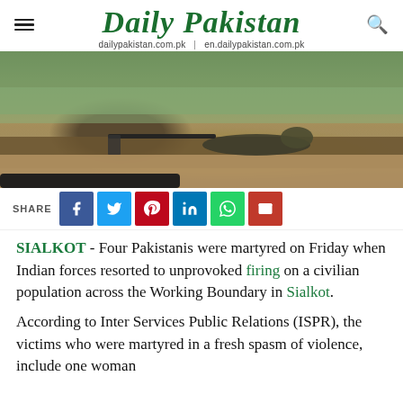Daily Pakistan | dailypakistan.com.pk | en.dailypakistan.com.pk
[Figure (photo): Soldiers lying prone with machine gun at a defensive position with sandbags and thatched barrier, mountains in background]
SHARE [Facebook] [Twitter] [Pinterest] [LinkedIn] [WhatsApp] [Email]
SIALKOT - Four Pakistanis were martyred on Friday when Indian forces resorted to unprovoked firing on a civilian population across the Working Boundary in Sialkot.
According to Inter Services Public Relations (ISPR), the victims who were martyred in a fresh spasm of violence, include one woman